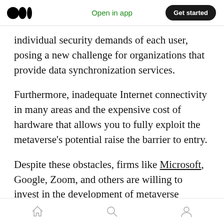Open in app | Get started
individual security demands of each user, posing a new challenge for organizations that provide data synchronization services.
Furthermore, inadequate Internet connectivity in many areas and the expensive cost of hardware that allows you to fully exploit the metaverse's potential raise the barrier to entry.
Despite these obstacles, firms like Microsoft, Google, Zoom, and others are willing to invest in the development of metaverse technologies in the same way that Facebook is. Microsoft, for
Home | Search | Profile